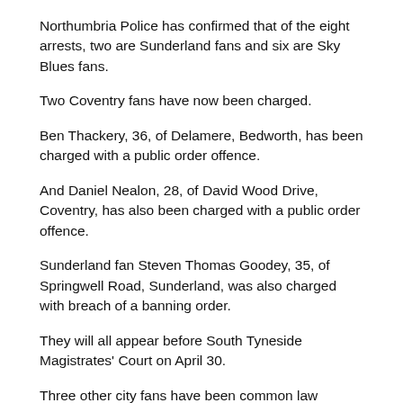Northumbria Police has confirmed that of the eight arrests, two are Sunderland fans and six are Sky Blues fans.
Two Coventry fans have now been charged.
Ben Thackery, 36, of Delamere, Bedworth, has been charged with a public order offence.
And Daniel Nealon, 28, of David Wood Drive, Coventry, has also been charged with a public order offence.
Sunderland fan Steven Thomas Goodey, 35, of Springwell Road, Sunderland, was also charged with breach of a banning order.
They will all appear before South Tyneside Magistrates' Court on April 30.
Three other city fans have been common law released while another will face no further action.